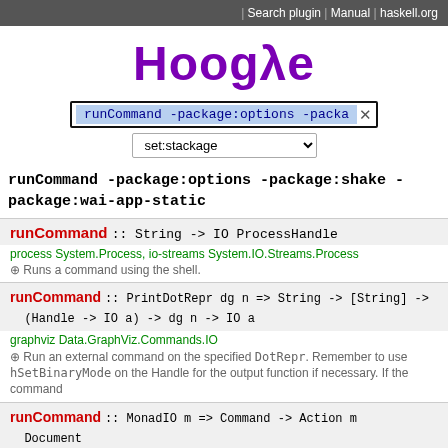Search plugin | Manual | haskell.org
[Figure (logo): Hoogle logo with lambda symbol]
runCommand -package:options -packa [search input with x button]
set:stackage [dropdown]
runCommand -package:options -package:shake -package:wai-app-static
runCommand :: String -> IO ProcessHandle
process System.Process, io-streams System.IO.Streams.Process
+ Runs a command using the shell.
runCommand :: PrintDotRepr dg n => String -> [String] -> (Handle -> IO a) -> dg n -> IO a
graphviz Data.GraphViz.Commands.IO
+ Run an external command on the specified DotRepr. Remember to use hSetBinaryMode on the Handle for the output function if necessary. If the command
runCommand :: MonadIO m => Command -> Action m Document